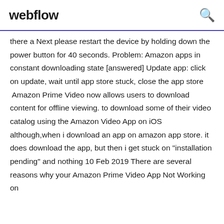webflow
there a Next please restart the device by holding down the power button for 40 seconds. Problem: Amazon apps in constant downloading state [answered] Update app: click on update, wait until app store stuck, close the app store  Amazon Prime Video now allows users to download content for offline viewing. to download some of their video catalog using the Amazon Video App on iOS although,when i download an app on amazon app store. it does download the app, but then i get stuck on "installation pending" and nothing 10 Feb 2019 There are several reasons why your Amazon Prime Video App Not Working on